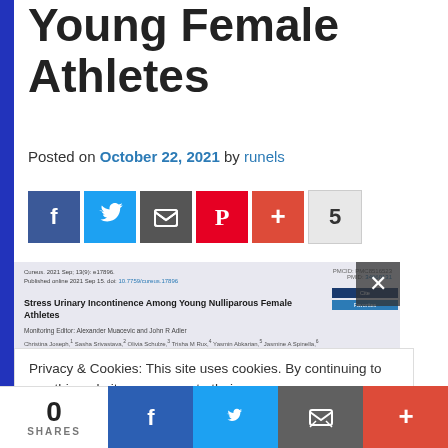Young Female Athletes
Posted on October 22, 2021 by runels
[Figure (other): Social share buttons row: Facebook, Twitter, Email, Pinterest, Plus, count 5]
[Figure (screenshot): Screenshot of academic article: Stress Urinary Incontinence Among Young Nulliparous Female Athletes, Cureus 2021]
Privacy & Cookies: This site uses cookies. By continuing to use this website, you agree to their use.
To find out more, including how to control cookies, see here: Cookie Policy
0 SHARES  [Facebook] [Twitter] [Email] [Plus]